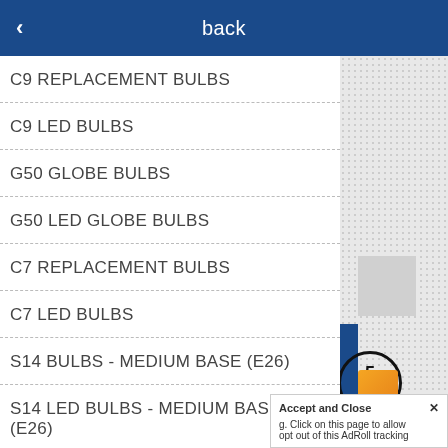back
C9 REPLACEMENT BULBS
C9 LED BULBS
G50 GLOBE BULBS
G50 LED GLOBE BULBS
C7 REPLACEMENT BULBS
C7 LED BULBS
S14 BULBS - MEDIUM BASE (E26)
S14 LED BULBS - MEDIUM BASE (E26)
Accept and Close ×
g. Click on this page to allow
opt out of this AdRoll tracking